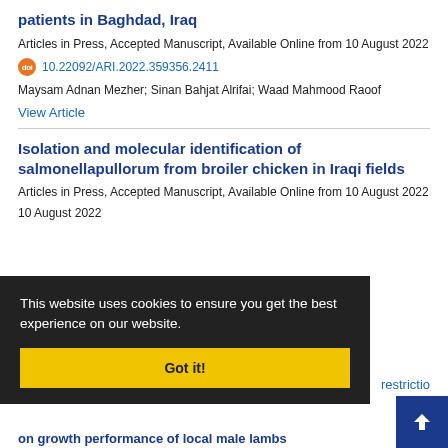patients in Baghdad, Iraq
Articles in Press, Accepted Manuscript, Available Online from 10 August 2022
10.22092/ARI.2022.359356.2411
Maysam Adnan Mezher; Sinan Bahjat Alrifai; Waad Mahmood Raoof
View Article
Isolation and molecular identification of salmonellapullorum from broiler chicken in Iraqi fields
Articles in Press, Accepted Manuscript, Available Online from 10 August 2022
This website uses cookies to ensure you get the best experience on our website.
Got it!
restrictio
on growth performance of local male lambs